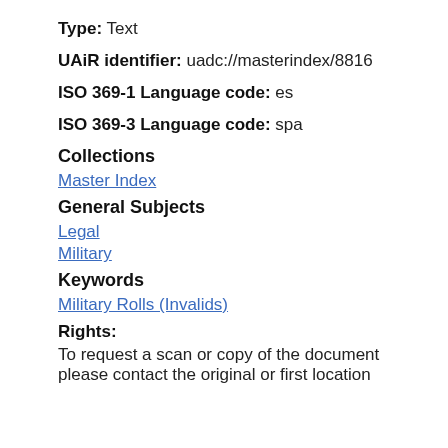Type: Text
UAiR identifier: uadc://masterindex/8816
ISO 369-1 Language code: es
ISO 369-3 Language code: spa
Collections
Master Index
General Subjects
Legal
Military
Keywords
Military Rolls (Invalids)
Rights:
To request a scan or copy of the document please contact the original or first location